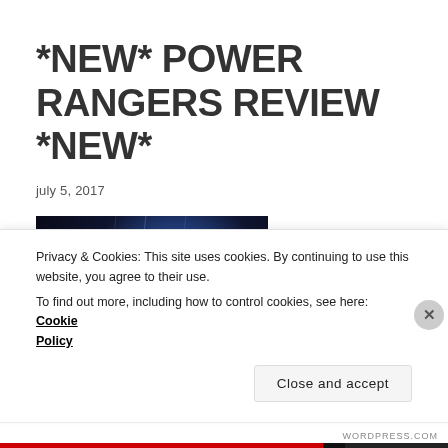*NEW* POWER RANGERS REVIEW *NEW*
july 5, 2017
[Figure (photo): Power Rangers movie characters in armored suits against a dark blue background with lights — multiple rangers including red, green, and blue suits visible]
Privacy & Cookies: This site uses cookies. By continuing to use this website, you agree to their use.
To find out more, including how to control cookies, see here: Cookie Policy
Close and accept